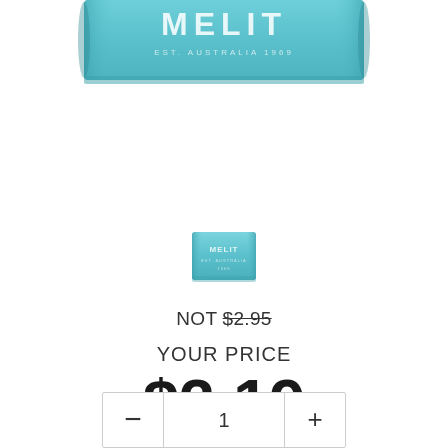[Figure (photo): Partial product image of a teal/turquoise branded package (MELIT, EST. AUSTRALIA 1969) cropped at the top of the page]
[Figure (photo): Small thumbnail of the same teal product package (MELIT brand) centered in the middle of the page]
NOT $2.95
YOUR PRICE
$2.19
- 1 +